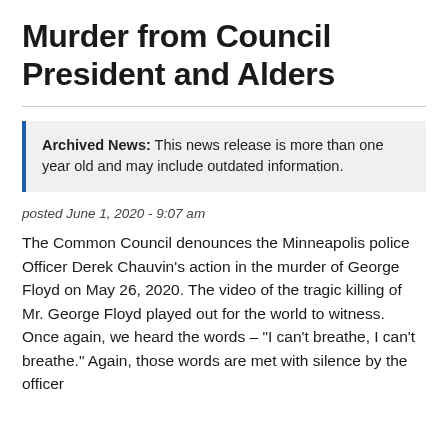Murder from Council President and Alders
Archived News: This news release is more than one year old and may include outdated information.
posted June 1, 2020 - 9:07 am
The Common Council denounces the Minneapolis police Officer Derek Chauvin’s action in the murder of George Floyd on May 26, 2020. The video of the tragic killing of Mr. George Floyd played out for the world to witness. Once again, we heard the words – "I can't breathe, I can't breathe." Again, those words are met with silence by the officer’s knee on the...